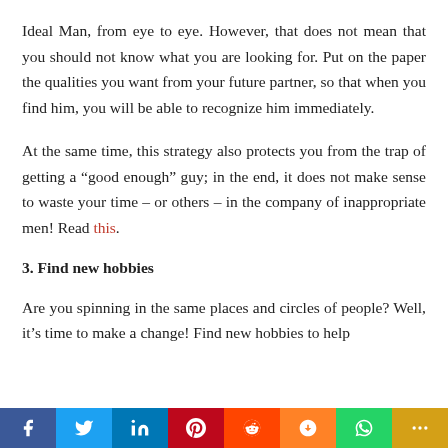Ideal Man, from eye to eye. However, that does not mean that you should not know what you are looking for. Put on the paper the qualities you want from your future partner, so that when you find him, you will be able to recognize him immediately.
At the same time, this strategy also protects you from the trap of getting a “good enough” guy; in the end, it does not make sense to waste your time – or others – in the company of inappropriate men! Read this.
3. Find new hobbies
Are you spinning in the same places and circles of people? Well, it’s time to make a change! Find new hobbies to help
f  t  in  P  reddit  mix  WhatsApp  +